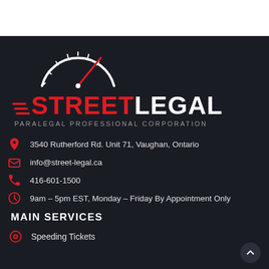[Figure (logo): Street Legal Paralegal Professional Corporation logo with speedometer arc graphic above the brand name. STREET in red bold, LEGAL in white bold, with speed lines on the left of STREET.]
3540 Rutherford Rd. Unit 71, Vaughan, Ontario
info@street-legal.ca
416-601-1500
9am – 5pm EST, Monday – Friday By Appointment Only
MAIN SERVICES
Speeding Tickets